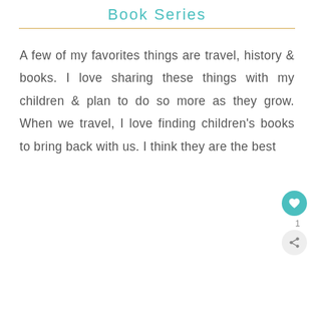Book Series
A few of my favorites things are travel, history & books. I love sharing these things with my children & plan to do so more as they grow. When we travel, I love finding children's books to bring back with us. I think they are the best